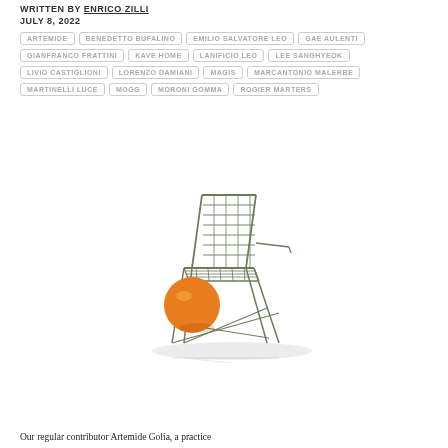WRITTEN BY ENRICO ZILLI
JULY 8, 2022
ARTEMIDE
BENEDETTO BUFALINO
EMILIO SALVATORE LEO
GAE AULENTI
GIANFRANCO FRATTINI
KAVE HOME
LANIFICIO LEO
LEE SANGHYEOK
LIVIO CASTIGLIONI
LORENZO DAMIANI
MAGIS
MARCANTONIO MALERBE
MARTINELLI LUCE
MOGG
MORONI GOMMA
ROGIER MARTERS
[Figure (photo): A wire-frame metal chair in green/olive color with an orange spherical cushion or ball at its base, shot against a white background with a subtle shadow reflection below.]
Our regular contributor Artemide Golia, a practice